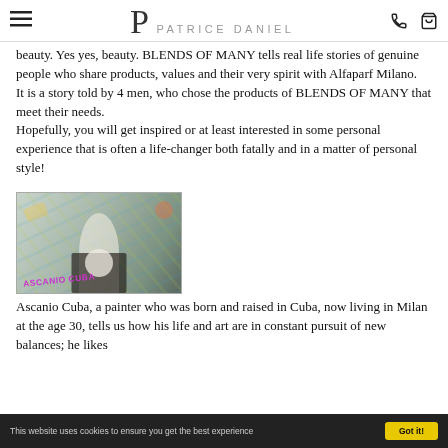≡  PATRICE DANIEL  ☎ 🛒
beauty. Yes yes, beauty. BLENDS OF MANY tells real life stories of genuine people who share products, values and their very spirit with Alfaparf Milano.
It is a story told by 4 men, who chose the products of BLENDS OF MANY that meet their needs.
Hopefully, you will get inspired or at least interested in some personal experience that is often a life-changer both fatally and in a matter of personal style!
[Figure (photo): Photo of Ascanio Cuba, a painter, sitting against a graffiti wall. Pink/magenta text overlay reads 'ASCANIO CUBA'.]
Ascanio Cuba, a painter who was born and raised in Cuba, now living in Milan at the age 30, tells us how his life and art are in constant pursuit of new balances; he likes
This website uses cookies to ensure you get the best experience   Got it!